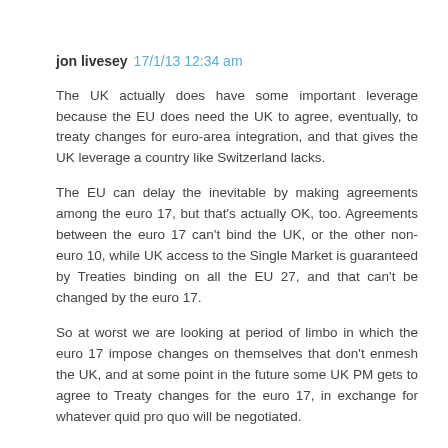jon livesey 17/1/13 12:34 am
The UK actually does have some important leverage because the EU does need the UK to agree, eventually, to treaty changes for euro-area integration, and that gives the UK leverage a country like Switzerland lacks.
The EU can delay the inevitable by making agreements among the euro 17, but that's actually OK, too. Agreements between the euro 17 can't bind the UK, or the other non-euro 10, while UK access to the Single Market is guaranteed by Treaties binding on all the EU 27, and that can't be changed by the euro 17.
So at worst we are looking at period of limbo in which the euro 17 impose changes on themselves that don't enmesh the UK, and at some point in the future some UK PM gets to agree to Treaty changes for the euro 17, in exchange for whatever quid pro quo will be negotiated.
Reply